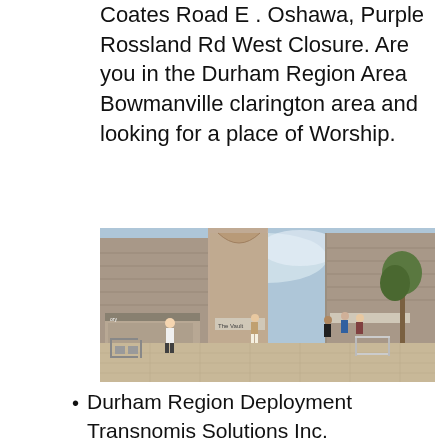Coates Road E . Oshawa, Purple Rossland Rd West Closure. Are you in the Durham Region Area Bowmanville clarington area and looking for a place of Worship.
[Figure (photo): Architectural rendering of a pedestrian street scene with stone/brick buildings, shops including one labeled 'The Vault', outdoor seating, and people walking along a paved walkway.]
Durham Region Deployment Transnomis Solutions Inc.
Road Closures Clarington
Christmas Lights & Santa Claus